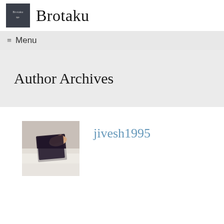Brotaku
≡ Menu
Author Archives
[Figure (photo): Author avatar thumbnail showing a person holding a dark book or folder, cropped square image]
jivesh1995